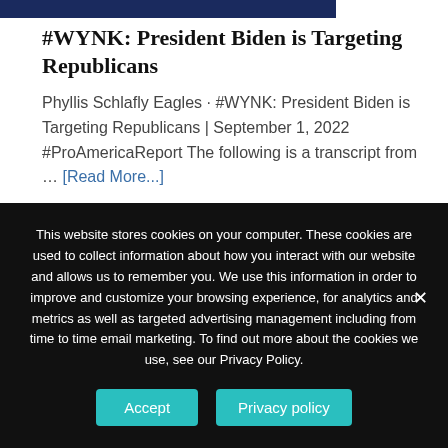[Figure (other): Dark blue banner/header bar at the top of the page]
#WYNK: President Biden is Targeting Republicans
Phyllis Schlafly Eagles · #WYNK: President Biden is Targeting Republicans | September 1, 2022 #ProAmericaReport The following is a transcript from … [Read More...]
This website stores cookies on your computer. These cookies are used to collect information about how you interact with our website and allows us to remember you. We use this information in order to improve and customize your browsing experience, for analytics and metrics as well as targeted advertising management including from time to time email marketing. To find out more about the cookies we use, see our Privacy Policy.